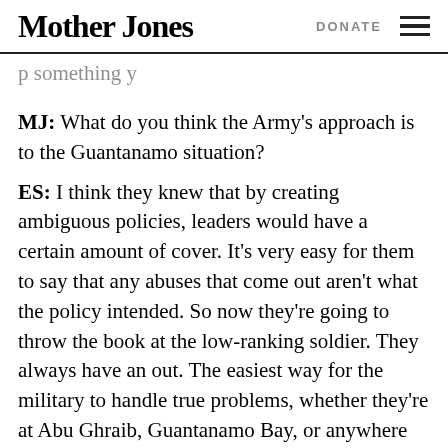Mother Jones | DONATE
MJ: What do you think the Army's approach is to the Guantanamo situation?
ES: I think they knew that by creating ambiguous policies, leaders would have a certain amount of cover. It's very easy for them to say that any abuses that come out aren't what the policy intended. So now they're going to throw the book at the low-ranking soldier. They always have an out. The easiest way for the military to handle true problems, whether they're at Abu Ghraib, Guantanamo Bay, or anywhere else in the future in the military, is to blame the lowest-ranking person. They will always be able to come up with a reason as to why that